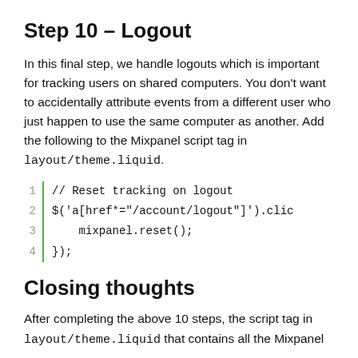Step 10 – Logout
In this final step, we handle logouts which is important for tracking users on shared computers. You don't want to accidentally attribute events from a different user who just happen to use the same computer as another. Add the following to the Mixpanel script tag in layout/theme.liquid.
[Figure (screenshot): Code block with 4 lines: line 1: // Reset tracking on logout, line 2: $('a[href*="/account/logout"]').clic, line 3: mixpanel.reset();, line 4: });]
Closing thoughts
After completing the above 10 steps, the script tag in layout/theme.liquid that contains all the Mixpanel integrations should list the following. It will